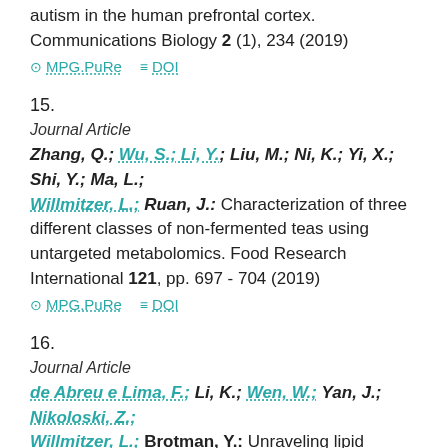autism in the human prefrontal cortex. Communications Biology 2 (1), 234 (2019)
⊙ MPG.PuRe  ≡ DOI
15.
Journal Article
Zhang, Q.; Wu, S.; Li, Y.; Liu, M.; Ni, K.; Yi, X.; Shi, Y.; Ma, L.; Willmitzer, L.; Ruan, J.: Characterization of three different classes of non-fermented teas using untargeted metabolomics. Food Research International 121, pp. 697 - 704 (2019)
⊙ MPG.PuRe  ≡ DOI
16.
Journal Article
de Abreu e Lima, F.; Li, K.; Wen, W.; Yan, J.; Nikoloski, Z.; Willmitzer, L.; Brotman, Y.: Unraveling lipid metabolism in